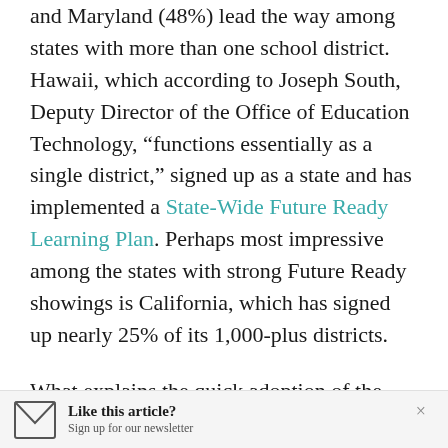and Maryland (48%) lead the way among states with more than one school district. Hawaii, which according to Joseph South, Deputy Director of the Office of Education Technology, “functions essentially as a single district,” signed up as a state and has implemented a State-Wide Future Ready Learning Plan. Perhaps most impressive among the states with strong Future Ready showings is California, which has signed up nearly 25% of its 1,000-plus districts.
What explains the quick adoption of the pledge in some states? “Generally in states where we had significant adoption someone at the state level was very active in getting districts involved,” explains Richard Culatta, Director of the Office of Education…
Like this article? Sign up for our newsletter